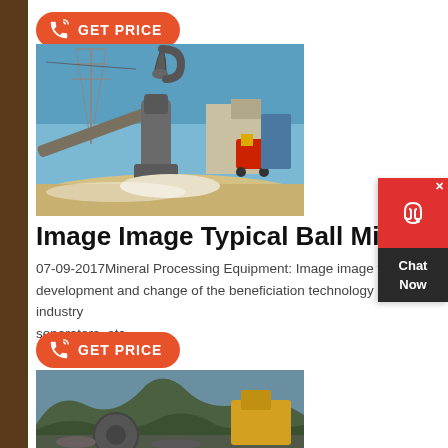[Figure (other): Orange 'GET PRICE' button with phone icon on orange pill-shaped background]
[Figure (photo): Industrial mining/milling plant with conveyor belts, a vertical mill with cyclone dust collector, power transmission towers in background, forklift and white powdered material on ground]
Image Image Typical Ball Mill Wiring D
07-09-2017Mineral Processing Equipment: Image image typical development and change of the beneficiation technology industry separators, etc.
[Figure (other): Orange 'GET PRICE' button with phone icon on orange pill-shaped background]
[Figure (photo): Quarry/mining site with mountains in background, yellow machinery visible on right side]
[Figure (other): Chat Now widget in top right corner with red background and headset icon]